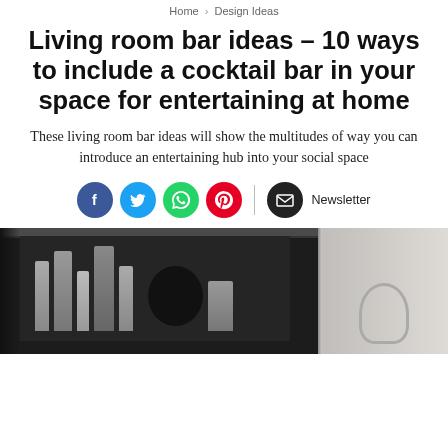Home > Design Ideas
Living room bar ideas – 10 ways to include a cocktail bar in your space for entertaining at home
These living room bar ideas will show the multitudes of way you can introduce an entertaining hub into your social space
[Figure (other): Social sharing icons: Facebook, Twitter, WhatsApp, Pinterest, and Newsletter button]
[Figure (photo): Photo of a dark wooden cabinet bar with bottles and barware inside, next to a grey paneled wall section with a lamp visible on the right side]